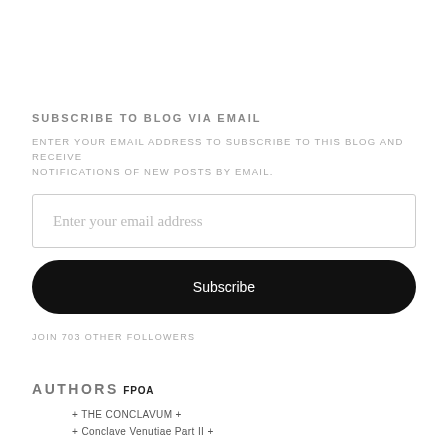SUBSCRIBE TO BLOG VIA EMAIL
ENTER YOUR EMAIL ADDRESS TO SUBSCRIBE TO THIS BLOG AND RECEIVE NOTIFICATIONS OF NEW POSTS BY EMAIL.
Enter your email address
Subscribe
JOIN 703 OTHER FOLLOWERS
AUTHORS
FPOA
+ THE CONCLAVUM +
+ Conclave Venutiae Part II +